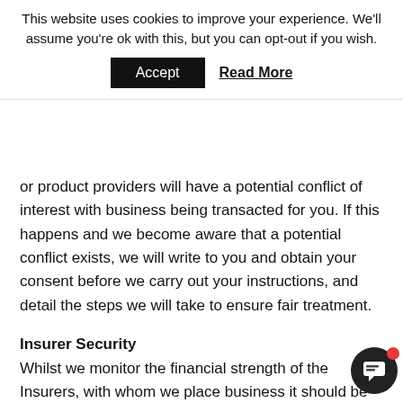This website uses cookies to improve your experience. We'll assume you're ok with this, but you can opt-out if you wish. Accept  Read More
or product providers will have a potential conflict of interest with business being transacted for you. If this happens and we become aware that a potential conflict exists, we will write to you and obtain your consent before we carry out your instructions, and detail the steps we will take to ensure fair treatment.
Insurer Security
Whilst we monitor the financial strength of the Insurers, with whom we place business it should be noted that the claims-paying ability of even the strongest Insurers could be affected by adverse business conditions. We cannot therefore guarantee the solvency of any Insurer or underwriter. A liability for the premium, whether in full or pro